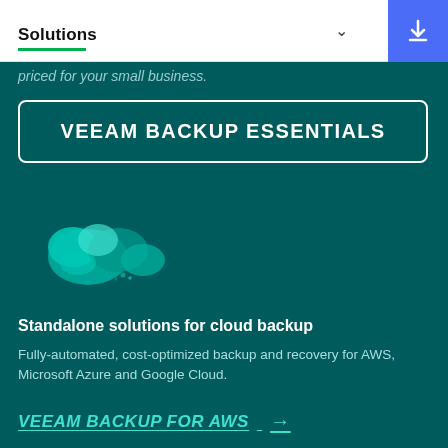Solutions
priced for your small business.
VEEAM BACKUP ESSENTIALS
[Figure (illustration): Abstract teal/green cloud shapes illustration representing cloud backup]
Standalone solutions for cloud backup
Fully-automated, cost-optimized backup and recovery for AWS, Microsoft Azure and Google Cloud.
VEEAM BACKUP FOR AWS →